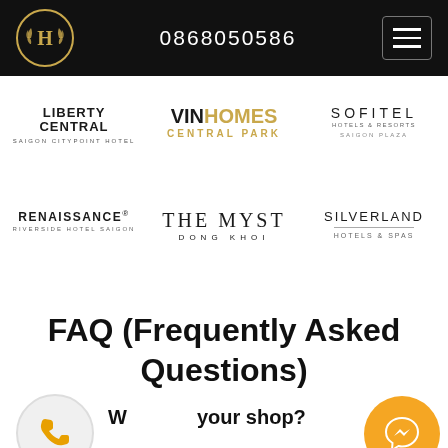0868050586
[Figure (logo): Liberty Central Saigon Citypoint Hotel logo]
[Figure (logo): VinHomes Central Park logo]
[Figure (logo): Sofitel Hotels & Resorts Saigon Plaza logo]
[Figure (logo): Renaissance Riverside Hotel Saigon logo]
[Figure (logo): The Myst Dong Khoi logo]
[Figure (logo): Silverland Hotels & Spas logo]
FAQ (Frequently Asked Questions)
Where is your shop?